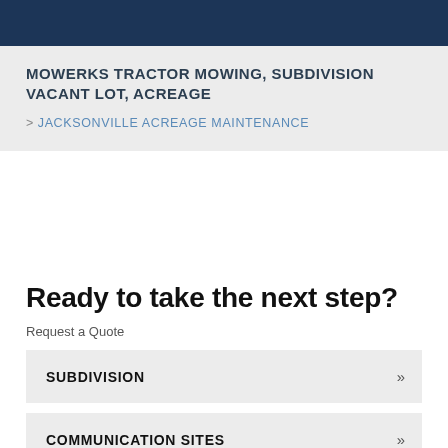MOWERKS TRACTOR MOWING, SUBDIVISION VACANT LOT, ACREAGE
> JACKSONVILLE ACREAGE MAINTENANCE
Ready to take the next step?
Request a Quote
SUBDIVISION »
COMMUNICATION SITES »